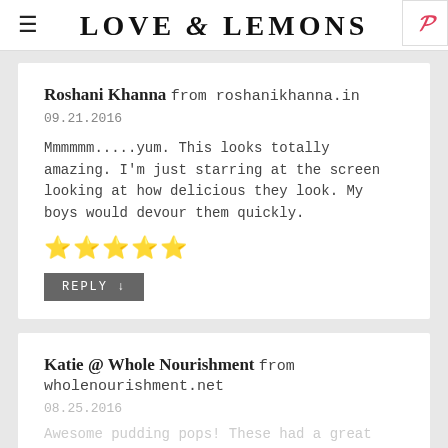LOVE & LEMONS
Roshani Khanna from roshanikhanna.in
09.21.2016
Mmmmmm.....yum. This looks totally amazing. I'm just starring at the screen looking at how delicious they look. My boys would devour them quickly.
★★★★★
REPLY ↓
Katie @ Whole Nourishment from wholenourishment.net
08.25.2016
Awesome pudding pops! These had a great flavor and